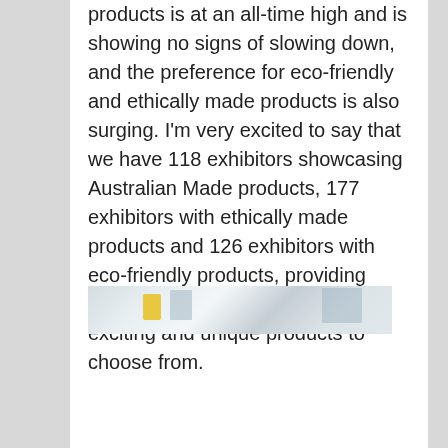products is at an all-time high and is showing no signs of slowing down, and the preference for eco-friendly and ethically made products is also surging. I'm very excited to say that we have 118 exhibitors showcasing Australian Made products, 177 exhibitors with ethically made products and 126 exhibitors with eco-friendly products, providing retailers with a huge selection of exciting and unique products to choose from.
[Figure (photo): Partial view of a trade show or retail exhibition floor showing display stands and booths]